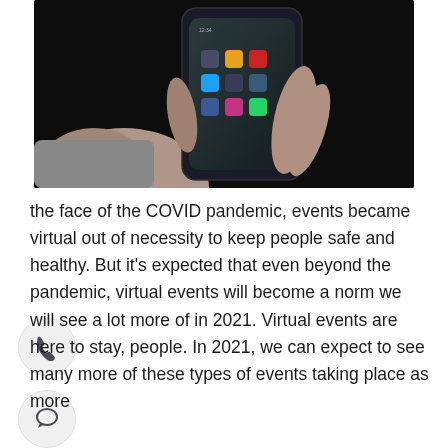[Figure (photo): A hand holding a smartphone with social media app icons visible on the dark screen, against a black background.]
the face of the COVID pandemic, events became virtual out of necessity to keep people safe and healthy. But it's expected that even beyond the pandemic, virtual events will become a norm we will see a lot more of in 2021. Virtual events are here to stay, people. In 2021, we can expect to see many more of these types of events taking place as more